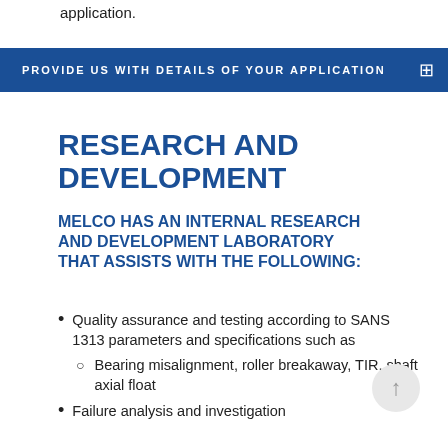application.
PROVIDE US WITH DETAILS OF YOUR APPLICATION
RESEARCH AND DEVELOPMENT
MELCO HAS AN INTERNAL RESEARCH AND DEVELOPMENT LABORATORY THAT ASSISTS WITH THE FOLLOWING:
Quality assurance and testing according to SANS 1313 parameters and specifications such as
Bearing misalignment, roller breakaway, TIR, shaft axial float
Failure analysis and investigation